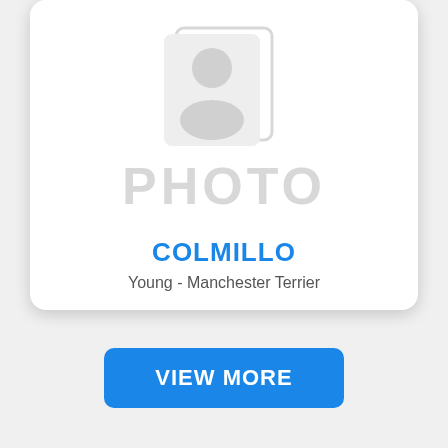[Figure (illustration): Pet profile card with placeholder photo icon showing a person silhouette and text PHOTO in light gray, with pet name COLMILLO in blue and description Young - Manchester Terrier]
COLMILLO
Young - Manchester Terrier
VIEW MORE